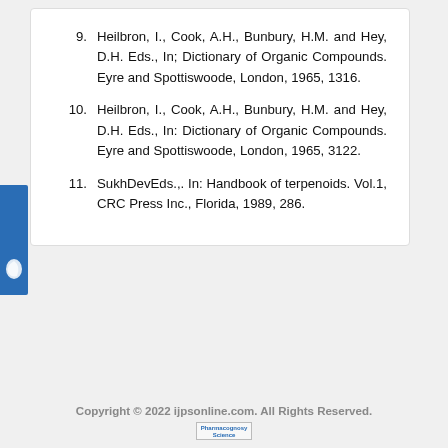9. Heilbron, I., Cook, A.H., Bunbury, H.M. and Hey, D.H. Eds., In; Dictionary of Organic Compounds. Eyre and Spottiswoode, London, 1965, 1316.
10. Heilbron, I., Cook, A.H., Bunbury, H.M. and Hey, D.H. Eds., In: Dictionary of Organic Compounds. Eyre and Spottiswoode, London, 1965, 3122.
11. SukhDevEds.,. In: Handbook of terpenoids. Vol.1, CRC Press Inc., Florida, 1989, 286.
Copyright © 2022 ijpsonline.com. All Rights Reserved.